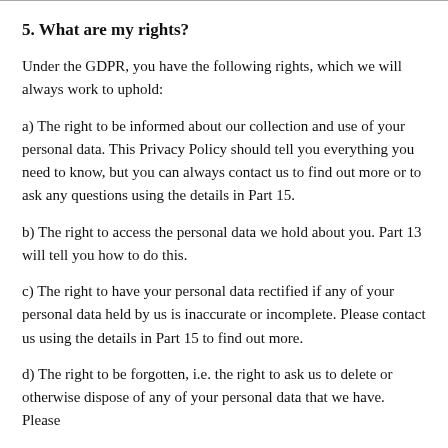5. What are my rights?
Under the GDPR, you have the following rights, which we will always work to uphold:
a) The right to be informed about our collection and use of your personal data. This Privacy Policy should tell you everything you need to know, but you can always contact us to find out more or to ask any questions using the details in Part 15.
b) The right to access the personal data we hold about you. Part 13 will tell you how to do this.
c) The right to have your personal data rectified if any of your personal data held by us is inaccurate or incomplete. Please contact us using the details in Part 15 to find out more.
d) The right to be forgotten, i.e. the right to ask us to delete or otherwise dispose of any of your personal data that we have. Please